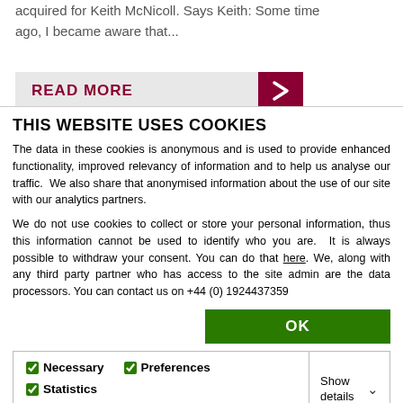acquired for Keith McNicoll. Says Keith: Some time ago, I became aware that...
[Figure (screenshot): READ MORE button with dark red arrow on grey background]
THIS WEBSITE USES COOKIES
The data in these cookies is anonymous and is used to provide enhanced functionality, improved relevancy of information and to help us analyse our traffic.  We also share that anonymised information about the use of our site with our analytics partners.
We do not use cookies to collect or store your personal information, thus this information cannot be used to identify who you are.  It is always possible to withdraw your consent. You can do that here. We, along with any third party partner who has access to the site admin are the data processors. You can contact us on +44 (0) 1924437359
OK
Necessary  Preferences  Statistics  Marketing  Show details